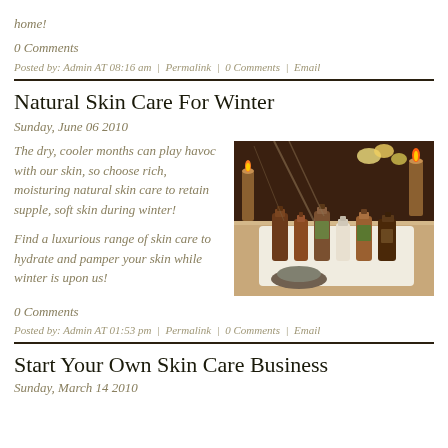home!
0 Comments
Posted by: Admin AT 08:16 am  |  Permalink  |  0 Comments  |  Email
Natural Skin Care For Winter
Sunday, June 06 2010
The dry, cooler months can play havoc with our skin, so choose rich, moisturing natural skin care to retain supple, soft skin during winter!
[Figure (photo): Bottles of natural skin care oils and products arranged on a white surface with candles and flowers in background]
Find a luxurious range of skin care to hydrate and pamper your skin while winter is upon us!
0 Comments
Posted by: Admin AT 01:53 pm  |  Permalink  |  0 Comments  |  Email
Start Your Own Skin Care Business
Sunday, March 14 2010